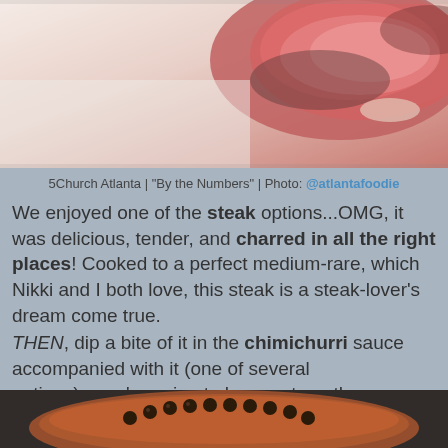[Figure (photo): Close-up photo of a cooked steak, showing a pink/red medium-rare interior with charred exterior, on a light background]
5Church Atlanta | "By the Numbers" | Photo: @atlantafoodie
We enjoyed one of the steak options...OMG, it was delicious, tender, and charred in all the right places! Cooked to a perfect medium-rare, which Nikki and I both love, this steak is a steak-lover's dream come true.
THEN, dip a bite of it in the chimichurri sauce accompanied with it (one of several options)...you're going to have yet another culinary wow-moment. And don't even get me started on the silky whipped potatoes!
[Figure (photo): Close-up photo of a dark brown bowl or pot with decorative dark chocolate balls/pearls arranged on top, on a dark background]